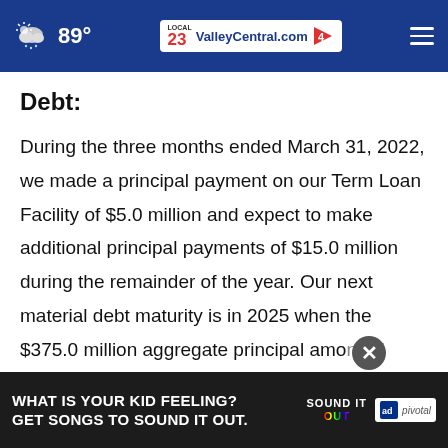89° ValleyCentral.com 23 4
Debt:
During the three months ended March 31, 2022, we made a principal payment on our Term Loan Facility of $5.0 million and expect to make additional principal payments of $15.0 million during the remainder of the year. Our next material debt maturity is in 2025 when the $375.0 million aggregate principal amount of CCIB... However, at our option, we may redeem or
[Figure (screenshot): Advertisement banner: 'WHAT IS YOUR KID FEELING? GET SONGS TO SOUND IT OUT.' with Sound It Out branding, Ad Council logo, and Pivotal label on dark background. Close button (×) visible above the ad.]